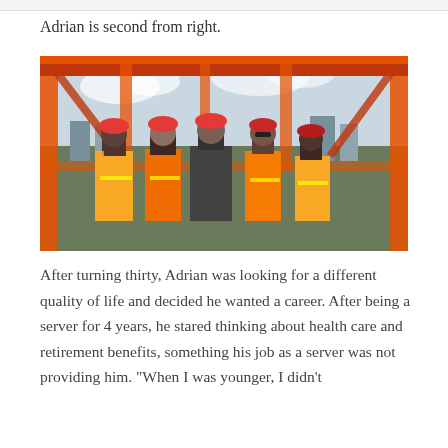Adrian is second from right.
[Figure (photo): Five construction workers wearing orange and yellow high-visibility vests and red hard hats posing together on a construction site with orange steel beams visible overhead and a city skyline in the background.]
After turning thirty, Adrian was looking for a different quality of life and decided he wanted a career. After being a server for 4 years, he stared thinking about health care and retirement benefits, something his job as a server was not providing him. "When I was younger, I didn't